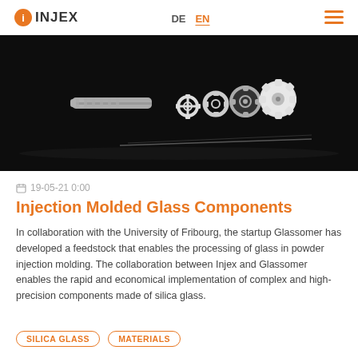INJEX | DE | EN
[Figure (photo): Glass injection molded components on black background: screws, gears and small precision parts arranged in a row, with reflections visible on a dark surface.]
19-05-21 0:00
Injection Molded Glass Components
In collaboration with the University of Fribourg, the startup Glassomer has developed a feedstock that enables the processing of glass in powder injection molding. The collaboration between Injex and Glassomer enables the rapid and economical implementation of complex and high-precision components made of silica glass.
SILICA GLASS   MATERIALS